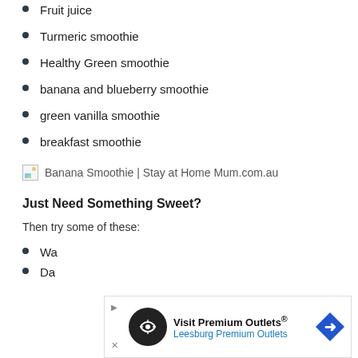Fruit juice
Turmeric smoothie
Healthy Green smoothie
banana and blueberry smoothie
green vanilla smoothie
breakfast smoothie
[Figure (photo): Broken image placeholder with alt text: Banana Smoothie | Stay at Home Mum.com.au]
Just Need Something Sweet?
Then try some of these:
Wa...
Da...
[Figure (other): Advertisement overlay: Visit Premium Outlets® Leesburg Premium Outlets with navigation icon]